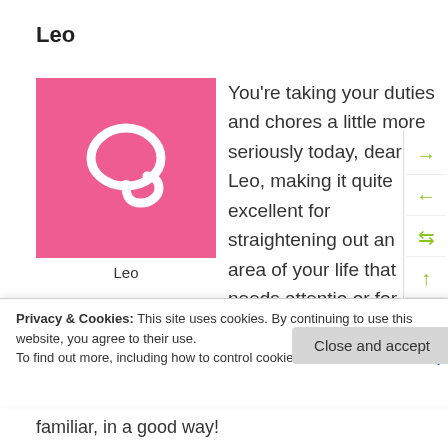Leo
[Figure (illustration): Pink square with white Leo zodiac symbol (lion) in the center, labeled 'Leo' below]
You're taking your duties and chores a little more seriously today, dear Leo, making it quite excellent for straightening out an area of your life that needs attention, or for setting goals for health and wellness.
Today, thinking is especially keen and intuition...
Privacy & Cookies: This site uses cookies. By continuing to use this website, you agree to their use.
To find out more, including how to control cookies, see here: Cookie Policy
familiar, in a good way!